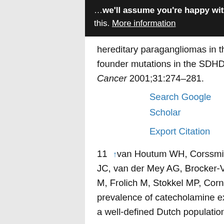…we'll assume you're happy with this. More information
hereditary paragangliomas in the Netherlands are caused by two founder mutations in the SDHD gene. Genes, Chromosomes and Cancer 2001;31:274–281.
Search Google Scholar
Export Citation
11 ↑van Houtum WH, Corssmit EP, Douwes Dekker PB, Jansen JC, van der Mey AG, Brocker-Vriends AH, Taschner PE, Losekoot M, Frolich M, Stokkel MP, Cornelisse CJ, Romijn JA. Increased prevalence of catecholamine excess and phaeochromocytomas in a well-defined Dutch population with SDHD-linked head and neck paragangliomas.…